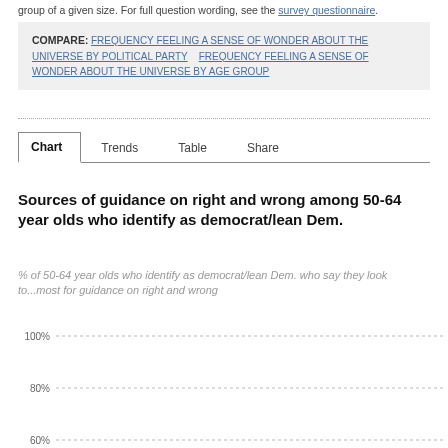group of a given size. For full question wording, see the survey questionnaire.
COMPARE: FREQUENCY FEELING A SENSE OF WONDER ABOUT THE UNIVERSE BY POLITICAL PARTY   FREQUENCY FEELING A SENSE OF WONDER ABOUT THE UNIVERSE BY AGE GROUP
Chart   Trends   Table   Share
Sources of guidance on right and wrong among 50-64 year olds who identify as democrat/lean Dem.
% of 50-64 year olds who identify as democrat/lean Dem. who say they look to...most for guidance on right and wrong
[Figure (bar-chart): Partial bar chart visible with y-axis gridlines at 100%, 80%, 60%]